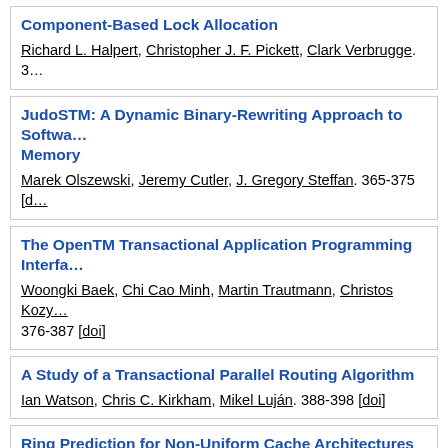Component-Based Lock Allocation
Richard L. Halpert, Christopher J. F. Pickett, Clark Verbrugge. 3…
JudoSTM: A Dynamic Binary-Rewriting Approach to Software Transactional Memory
Marek Olszewski, Jeremy Cutler, J. Gregory Steffan. 365-375 [doi]
The OpenTM Transactional Application Programming Interface
Woongki Baek, Chi Cao Minh, Martin Trautmann, Christos Kozy… 376-387 [doi]
A Study of a Transactional Parallel Routing Algorithm
Ian Watson, Chris C. Kirkham, Mikel Luján. 388-398 [doi]
Ring Prediction for Non-Uniform Cache Architectures
Sayaka Akioka, Feihui Li, Mahmut T. Kandemir, Padma Raghava… 401 [doi]